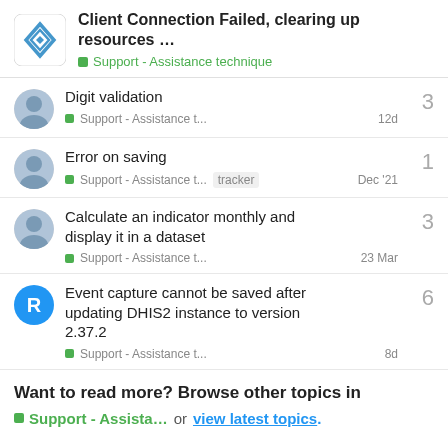Client Connection Failed, clearing up resources … | Support - Assistance technique
Digit validation
Support - Assistance t... | 12d | replies: 3
Error on saving
Support - Assistance t... tracker | Dec '21 | replies: 1
Calculate an indicator monthly and display it in a dataset
Support - Assistance t... | 23 Mar | replies: 3
Event capture cannot be saved after updating DHIS2 instance to version 2.37.2
Support - Assistance t... | 8d | replies: 6
Want to read more? Browse other topics in Support - Assista... or view latest topics.